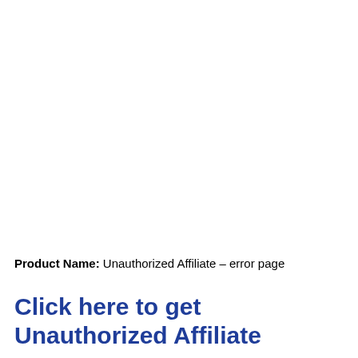Product Name: Unauthorized Affiliate – error page
Click here to get Unauthorized Affiliate